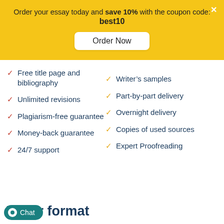Order your essay today and save 10% with the coupon code: best10
[Figure (other): Order Now button on yellow banner]
Free title page and bibliography
Unlimited revisions
Plagiarism-free guarantee
Money-back guarantee
24/7 support
Writer's samples
Part-by-part delivery
Overnight delivery
Copies of used sources
Expert Proofreading
Paper format